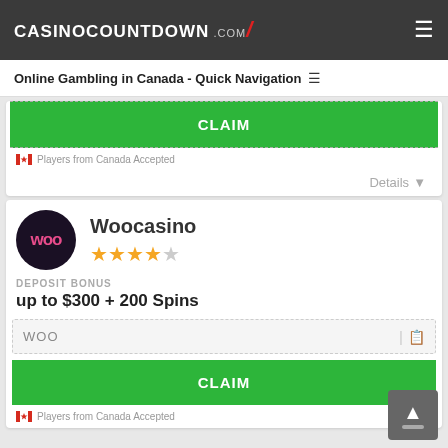CASINOCOUNTDOWN .COM
Online Gambling in Canada - Quick Navigation
CLAIM
Players from Canada Accepted
Details
Woocasino
DEPOSIT BONUS
up to $300 + 200 Spins
WOO
CLAIM
Players from Canada Accepted